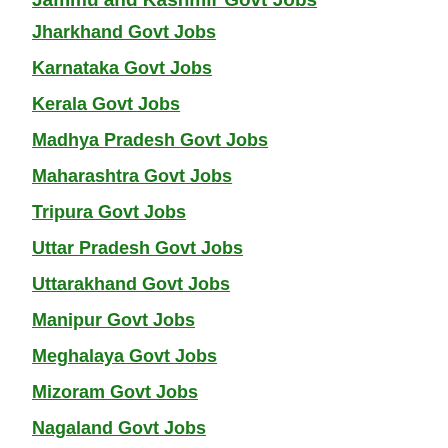Jammu and Kashmir Govt Jobs
Jharkhand Govt Jobs
Karnataka Govt Jobs
Kerala Govt Jobs
Madhya Pradesh Govt Jobs
Maharashtra Govt Jobs
Tripura Govt Jobs
Uttar Pradesh Govt Jobs
Uttarakhand Govt Jobs
Manipur Govt Jobs
Meghalaya Govt Jobs
Mizoram Govt Jobs
Nagaland Govt Jobs